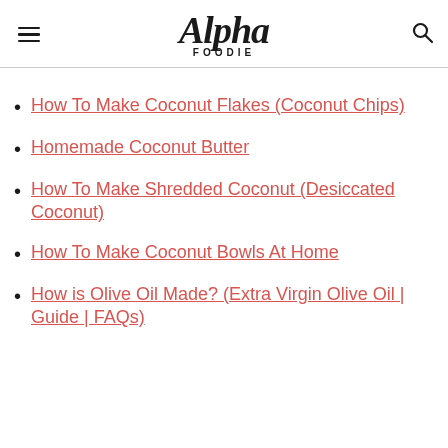Alpha Foodie
How To Make Coconut Flakes (Coconut Chips)
Homemade Coconut Butter
How To Make Shredded Coconut (Desiccated Coconut)
How To Make Coconut Bowls At Home
How is Olive Oil Made? (Extra Virgin Olive Oil | Guide | FAQs)